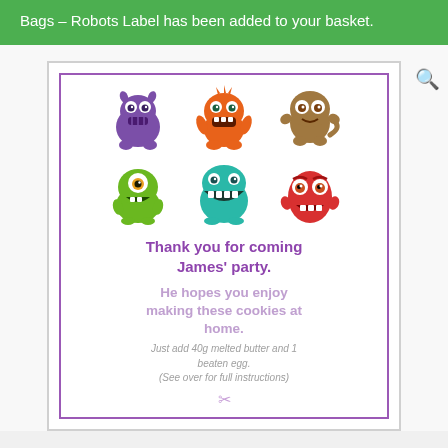Bags – Robots Label has been added to your basket.
[Figure (illustration): A party thank-you card with six cartoon monster characters in two rows. Below them text reads: Thank you for coming James' party. He hopes you enjoy making these cookies at home. Just add 40g melted butter and 1 beaten egg. (See over for full instructions)]
Thank you for coming James' party.
He hopes you enjoy making these cookies at home.
Just add 40g melted butter and 1 beaten egg. (See over for full instructions)